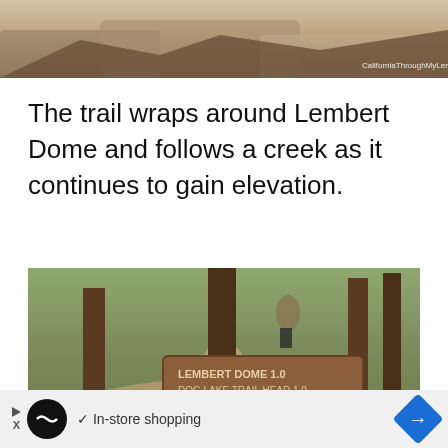[Figure (photo): Top portion of a trail/rocky path photo at Lembert Dome area with watermark 'CaliforniaThroughMyLens.com']
The trail wraps around Lembert Dome and follows a creek as it continues to gain elevation.
[Figure (photo): Photo of a hiking trail near trees with a wooden trail sign reading 'LEMBERT DOME 1.0, DOG LAKE TRAIL HEAD 1.0, AND YOUNG PASS, TUOLUMNE DOME 1.3']
In-store shopping